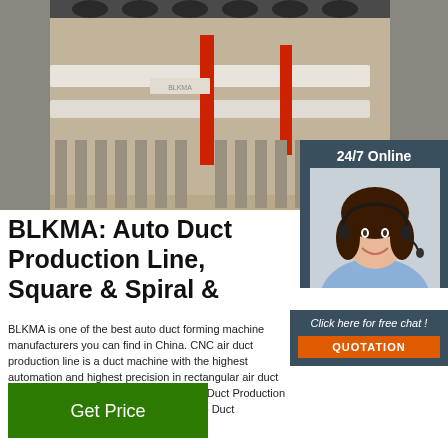[Figure (photo): Industrial duct production line machinery with rollers and red components]
[Figure (photo): Customer service agent with headset smiling, shown in dark teal badge panel with text '24/7 Online' and 'Click here for free chat!' and QUOTATION button]
BLKMA: Auto Duct Production Line, Square & Spiral &
BLKMA is one of the best auto duct forming machine manufacturers you can find in China. CNC air duct production line is a duct machine with the highest automation and highest precision in rectangular air duct production line machines. U Shape Auto Duct Production Line 5. Auto Duct Production Line 5. Auto Duct Production Line 4.
Get Price